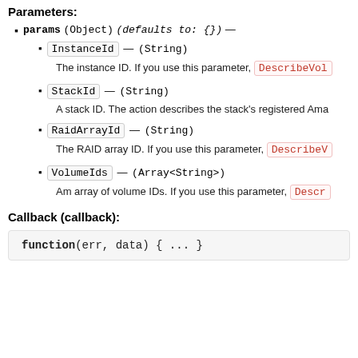Parameters:
params (Object) (defaults to: {}) —
InstanceId — (String)
The instance ID. If you use this parameter, DescribeVol
StackId — (String)
A stack ID. The action describes the stack's registered Ama
RaidArrayId — (String)
The RAID array ID. If you use this parameter, DescribeV
VolumeIds — (Array<String>)
Am array of volume IDs. If you use this parameter, Descr
Callback (callback):
function(err, data) { ... }